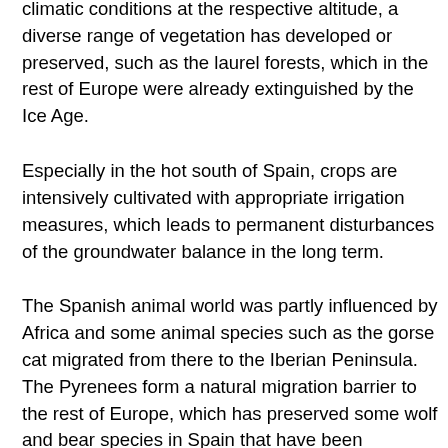climatic conditions at the respective altitude, a diverse range of vegetation has developed or preserved, such as the laurel forests, which in the rest of Europe were already extinguished by the Ice Age.
Especially in the hot south of Spain, crops are intensively cultivated with appropriate irrigation measures, which leads to permanent disturbances of the groundwater balance in the long term.
The Spanish animal world was partly influenced by Africa and some animal species such as the gorse cat migrated from there to the Iberian Peninsula. The Pyrenees form a natural migration barrier to the rest of Europe, which has preserved some wolf and bear species in Spain that have been exterminated elsewhere in Europe. Another rare, protected species is the Iberian lynx. The Ichneumonin is also the only